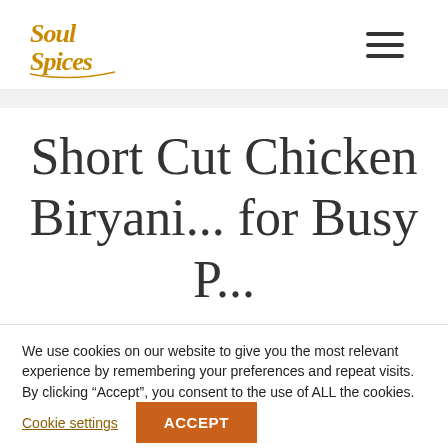[Figure (logo): Soul Spices logo in golden/amber script font]
Short Cut Chicken Biryani... for Busy
We use cookies on our website to give you the most relevant experience by remembering your preferences and repeat visits. By clicking “Accept”, you consent to the use of ALL the cookies.
Cookie settings
ACCEPT